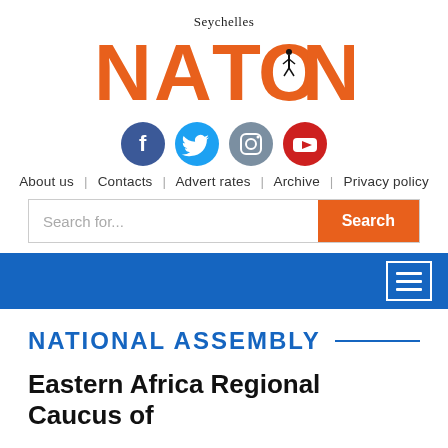[Figure (logo): Seychelles Nation newspaper logo with orange NATION text and a figure icon in the O, with 'Seychelles' above in smaller serif text]
[Figure (infographic): Row of four social media icons: Facebook (blue circle with f), Twitter (light blue circle with bird), Instagram (grey-blue circle with camera), YouTube (red circle with play button)]
About us | Contacts | Advert rates | Archive | Privacy policy
Search for...  [Search button]
[Figure (screenshot): Blue navigation bar with hamburger menu icon (three lines) in a white-bordered box on the right]
NATIONAL ASSEMBLY
Eastern Africa Regional Caucus of